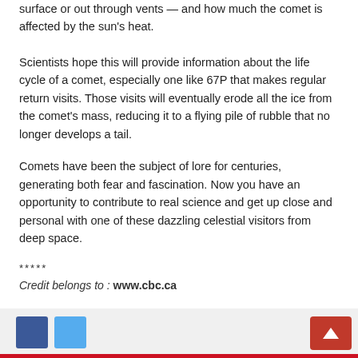surface or out through vents — and how much the comet is affected by the sun's heat.
Scientists hope this will provide information about the life cycle of a comet, especially one like 67P that makes regular return visits. Those visits will eventually erode all the ice from the comet's mass, reducing it to a flying pile of rubble that no longer develops a tail.
Comets have been the subject of lore for centuries, generating both fear and fascination. Now you have an opportunity to contribute to real science and get up close and personal with one of these dazzling celestial visitors from deep space.
*****
Credit belongs to : www.cbc.ca
Social share buttons and back-to-top button